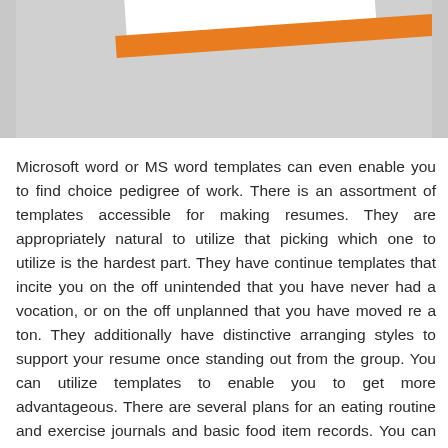[Figure (illustration): A decorative letterhead template preview showing an orange diagonal bar over a white card element on a gray background.]
Microsoft word or MS word templates can even enable you to find choice pedigree of work. There is an assortment of templates accessible for making resumes. They are appropriately natural to utilize that picking which one to utilize is the hardest part. They have continue templates that incite you on the off unintended that you have never had a vocation, or on the off unplanned that you have moved re a ton. They additionally have distinctive arranging styles to support your resume once standing out from the group. You can utilize templates to enable you to get more advantageous. There are several plans for an eating routine and exercise journals and basic food item records. You can even create a relatives unit spending scheme or a associates unit errand list. Making wisdom of to what extent it will understand you to pay of your house bank account should be realistic utilizing a Microsoft Free Letterhead Templates For Microsoft Word. Appears there may be template for each portion of life.
Utilizing Microsoft Office word or MS Free Letterhead Templates For